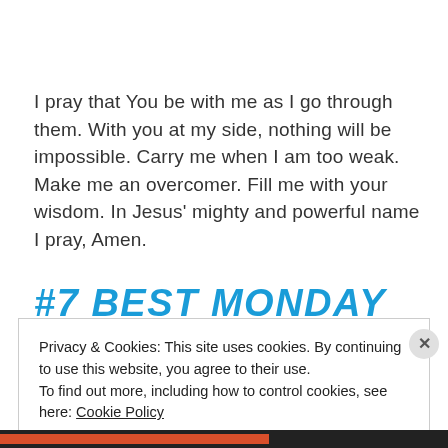I pray that You be with me as I go through them. With you at my side, nothing will be impossible. Carry me when I am too weak. Make me an overcomer. Fill me with your wisdom. In Jesus' mighty and powerful name I pray, Amen.
#7 BEST MONDAY
Privacy & Cookies: This site uses cookies. By continuing to use this website, you agree to their use.
To find out more, including how to control cookies, see here: Cookie Policy
[Close and accept]